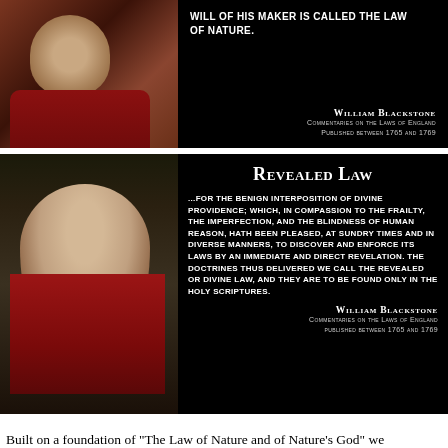[Figure (illustration): Portrait painting of a judge in red robes holding a book, with partial view at top]
WILL OF HIS MAKER IS CALLED THE LAW OF NATURE.
WILLIAM BLACKSTONE
COMMENTARIES ON THE LAWS OF ENGLAND
PUBLISHED BETWEEN 1765 AND 1769
[Figure (illustration): Portrait painting of William Blackstone in judge's wig and red robes]
REVEALED LAW
...FOR THE BENIGN INTERPOSITION OF DIVINE PROVIDENCE; WHICH, IN COMPASSION TO THE FRAILTY, THE IMPERFECTION, AND THE BLINDNESS OF HUMAN REASON, HATH BEEN PLEASED, AT SUNDRY TIMES AND IN DIVERSE MANNERS, TO DISCOVER AND ENFORCE ITS LAWS BY AN IMMEDIATE AND DIRECT REVELATION. THE DOCTRINES THUS DELIVERED WE CALL THE REVEALED OR DIVINE LAW, AND THEY ARE TO BE FOUND ONLY IN THE HOLY SCRIPTURES.
WILLIAM BLACKSTONE
COMMENTARIES ON THE LAWS OF ENGLAND
PUBLISHED BETWEEN 1765 AND 1769
Built on a foundation of "The Law of Nature and of Nature's God" we Americans enter into a "Social Compact" with those we allow to govern us, to govern us so long as they do so justly, adhering to the moral